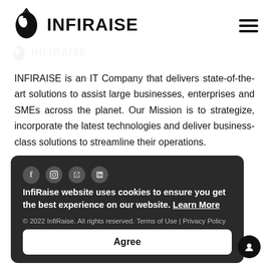[Figure (logo): INFIRAISE logo with leaf/drop icon and bold text INFIRAISE]
INFIRAISE is an IT Company that delivers state-of-the-art solutions to assist large businesses, enterprises and SMEs across the planet. Our Mission is to strategize, incorporate the latest technologies and deliver business-class solutions to streamline their operations.
InfiRaise website uses cookies to ensure you get the best experience on our website. Learn More
© 2022 InfiRaise. All rights reserved. Terms of Use | Privacy Policy
Agree